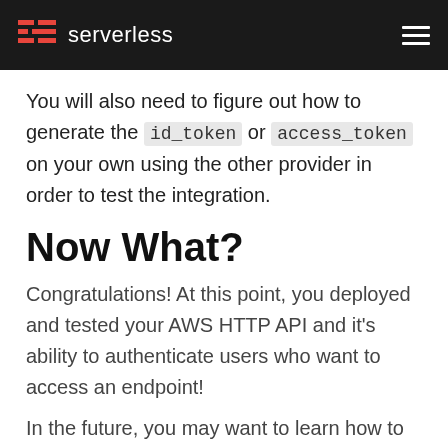serverless
You will also need to figure out how to generate the id_token or access_token on your own using the other provider in order to test the integration.
Now What?
Congratulations! At this point, you deployed and tested your AWS HTTP API and it's ability to authenticate users who want to access an endpoint!
In the future, you may want to learn how to manage scopes and permissions with the access_token. But for now, you can start to use this new tool to shave hundreds of lines of JWT verification code out of your